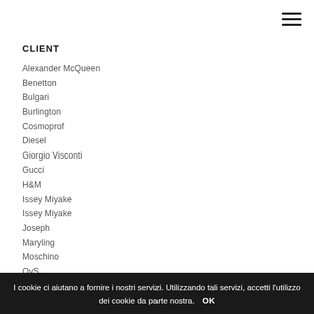CLIENT
Alexander McQueen
Benetton
Bulgari
Burlington
Cosmoprof
Diesel
Giorgio Visconti
Gucci
H&M
Issey Miyake
Issey Miyake
Joseph
Maryling
Moschino
OvS
Oviesse
Revlon
River Island
Rolls Royce
Space NK
Tom Ford
I cookie ci aiutano a fornire i nostri servizi. Utilizzando tali servizi, accetti l'utilizzo dei cookie da parte nostra. OK